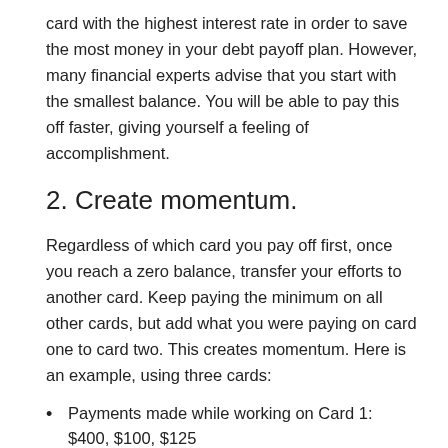card with the highest interest rate in order to save the most money in your debt payoff plan. However, many financial experts advise that you start with the smallest balance. You will be able to pay this off faster, giving yourself a feeling of accomplishment.
2. Create momentum.
Regardless of which card you pay off first, once you reach a zero balance, transfer your efforts to another card. Keep paying the minimum on all other cards, but add what you were paying on card one to card two. This creates momentum. Here is an example, using three cards:
Payments made while working on Card 1: $400, $100, $125
Payments made while working on Card 2: $0, $500, $125
Payments made while working on Card 3: $0, $0, $625
You can see that by the time you are working on card three, you